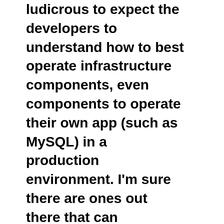ludicrous to expect the developers to understand how to best operate infrastructure components, even components to operate their own app (such as MySQL) in a production environment. I'm sure there are ones out there that can effectively do it(I don't claim to be a MySQL expert even myself having worked with it for 15 years now I'll happily hand that responsibility to DBAs